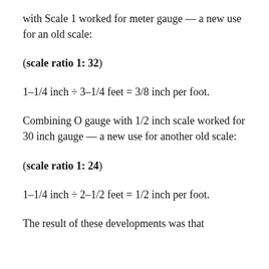with Scale 1 worked for meter gauge — a new use for an old scale:
(scale ratio 1: 32)
1–1/4 inch ÷ 3–1/4 feet = 3/8 inch per foot.
Combining O gauge with 1/2 inch scale worked for 30 inch gauge — a new use for another old scale:
(scale ratio 1: 24)
1–1/4 inch ÷ 2–1/2 feet = 1/2 inch per foot.
The result of these developments was that